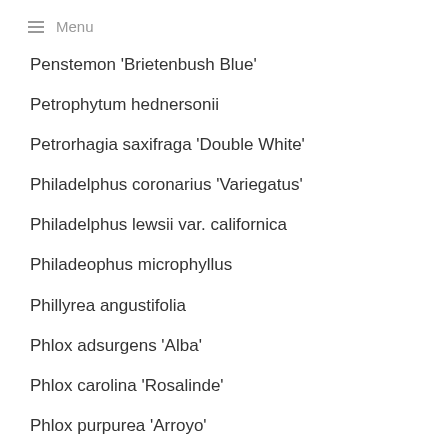Menu
Penstemon 'Brietenbush Blue'
Petrophytum hednersonii
Petrorhagia saxifraga 'Double White'
Philadelphus coronarius 'Variegatus'
Philadelphus lewsii var. californica
Philadeophus microphyllus
Phillyrea angustifolia
Phlox adsurgens 'Alba'
Phlox carolina 'Rosalinde'
Phlox purpurea 'Arroyo'